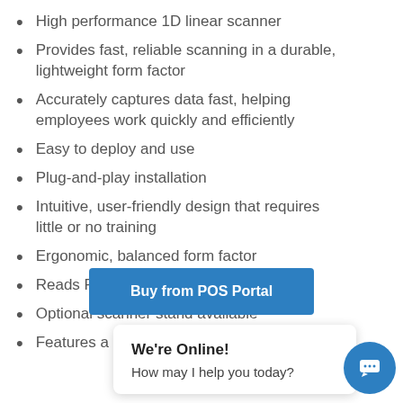High performance 1D linear scanner
Provides fast, reliable scanning in a durable, lightweight form factor
Accurately captures data fast, helping employees work quickly and efficiently
Easy to deploy and use
Plug-and-play installation
Intuitive, user-friendly design that requires little or no training
Ergonomic, balanced form factor
Reads RSS codes
Optional scanner stand available
Features a 5 year warranty
[Figure (screenshot): Blue 'Buy from POS Portal' button partially visible, overlaid by a chat popup saying 'We're Online! How may I help you today?' with a blue chat icon in the bottom right corner.]